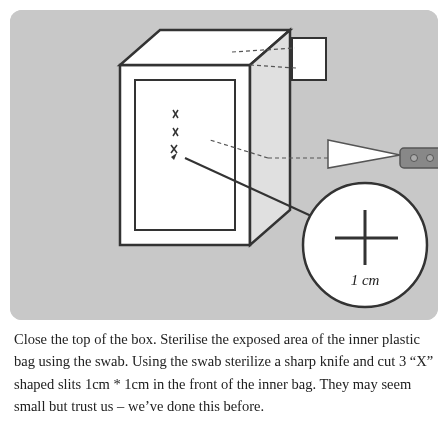[Figure (illustration): Instructional illustration showing a cardboard box with its top closed, an inner plastic bag visible on the front face with three X-shaped cuts marked, dashed lines pointing to a removed square flap and a knife sterilising the area, and a circular zoom-in showing a '+' shaped cross-cut labelled '1 cm'.]
Close the top of the box. Sterilise the exposed area of the inner plastic bag using the swab. Using the swab sterilize a sharp knife and cut 3 “X” shaped slits 1cm * 1cm in the front of the inner bag. They may seem small but trust us – we’ve done this before.